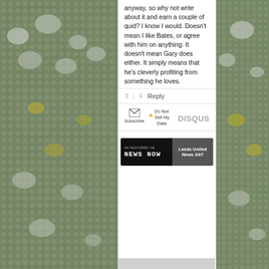[Figure (photo): Crowd of football fans in white and yellow/blue colors filling stadium stands, on the left and right sides of the page]
anyway, so why not write about it and earn a couple of quid? I know I would. Doesn't mean I like Bates, or agree with him on anything. It doesn't mean Gary does either. It simply means that he's cleverly profiting from something he loves.
^ | v  Reply
Subscribe  ⚠ Do Not Sell My Data  DISQUS
[Figure (logo): AS FEATURED ON News Now | Leeds United News 24/7 banner]